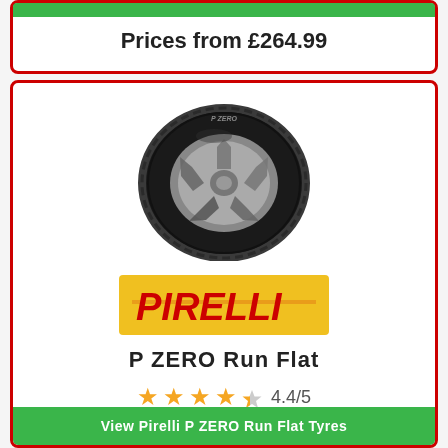Prices from £264.99
[Figure (photo): Pirelli P ZERO Run Flat tyre on a silver alloy wheel, viewed at an angle]
[Figure (logo): Pirelli logo - yellow background with red italic PIRELLI text with P formed by lines]
P ZERO Run Flat
4.4/5 star rating
View Pirelli P ZERO Run Flat Tyres